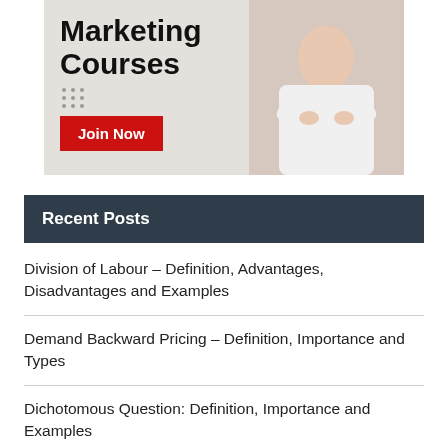[Figure (illustration): Advertisement banner for Marketing Courses with a person standing arms crossed, red Join Now button]
Recent Posts
Division of Labour – Definition, Advantages, Disadvantages and Examples
Demand Backward Pricing – Definition, Importance and Types
Dichotomous Question: Definition, Importance and Examples
Information Dissemination – Definition, Types and